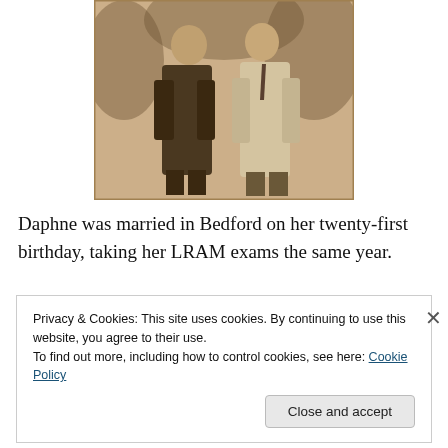[Figure (photo): Sepia-toned vintage photograph of two people standing together outdoors, likely a couple, wearing mid-20th century clothing.]
Daphne was married in Bedford on her twenty-first birthday, taking her LRAM exams the same year.
[Figure (photo): Partial view of another vintage photograph at the bottom of the page, mostly obscured by the cookie banner.]
Privacy & Cookies: This site uses cookies. By continuing to use this website, you agree to their use.
To find out more, including how to control cookies, see here: Cookie Policy
Close and accept